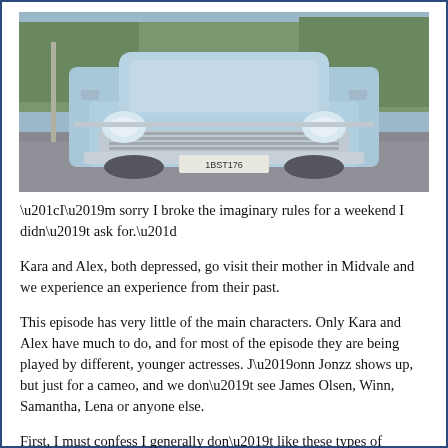[Figure (photo): Front view of a vintage light blue classic car (license plate 1BST176) parked on a road with trees in the background.]
“I’m sorry I broke the imaginary rules for a weekend I didn’t ask for.”
Kara and Alex, both depressed, go visit their mother in Midvale and we experience an experience from their past.
This episode has very little of the main characters. Only Kara and Alex have much to do, and for most of the episode they are being played by different, younger actresses. J’onn Jonzz shows up, but just for a cameo, and we don’t see James Olsen, Winn, Samantha, Lena or anyone else.
First, I must confess I generally don’t like these types of episodes. On the other hand, it’s logical to come back to Midvale. Also, the actresses playing the younger versions were very good. They looked and acted like their older counterparts.